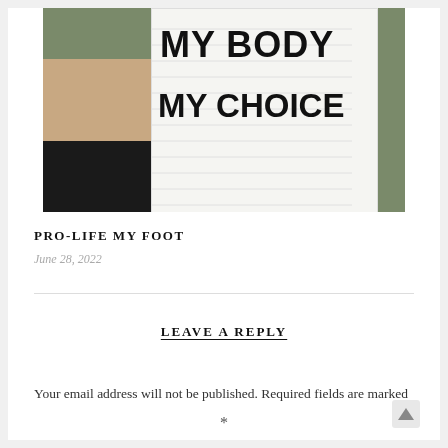[Figure (photo): A person holding a white protest sign with bold black text reading 'MY BODY MY CHOICE', standing on grass. The person is wearing black shorts and holding the sign up.]
PRO-LIFE MY FOOT
June 28, 2022
LEAVE A REPLY
Your email address will not be published. Required fields are marked